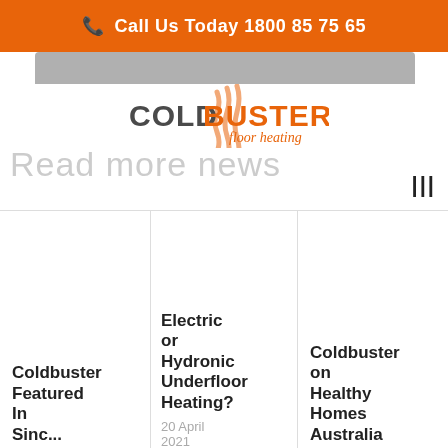Call Us Today 1800 85 75 65
[Figure (logo): Coldbuster Floor Heating logo with orange heat-wave icon, dark grey COLD text, orange BUSTER text, and orange cursive floor heating text]
Read more news
|||
Coldbuster Featured In Sinc...
Electric or Hydronic Underfloor Heating?
20 April 2021
Coldbuster on Healthy Homes Australia